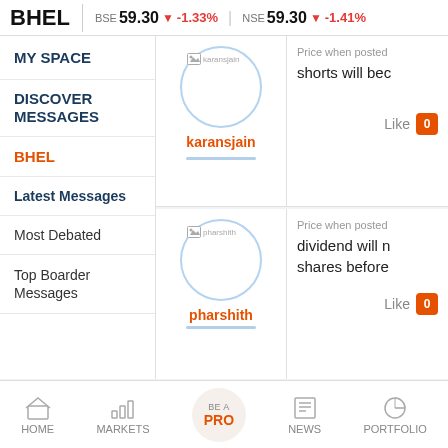BHEL  BSE 59.30 ▼ -1.33%  NSE 59.30 ▼ -1.41%
MY SPACE
DISCOVER MESSAGES
BHEL
Latest Messages
Most Debated
Top Boarder Messages
[Figure (illustration): User avatar circle for karansjain with image placeholder icon and username below]
Price when posted
shorts will bec
Like 0
[Figure (illustration): User avatar circle for pharshith with image placeholder icon and username below]
Price when posted
dividend will n shares before
Like 0
HOME  MARKETS  BE A PRO  NEWS  PORTFOLIO